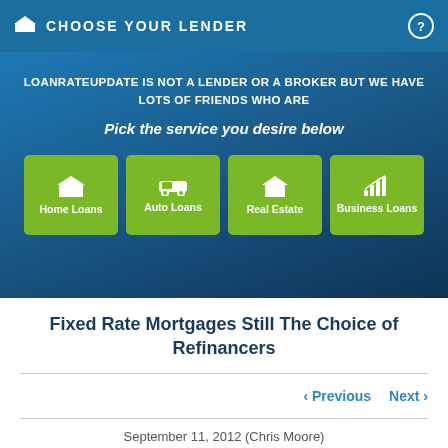CHOOSE YOUR LENDER
LOANRATEUPDATE IS NOT A LENDER OR A BROKER BUT WE HAVE LOTS OF FRIENDS WHO ARE
Pick the service you desire below
[Figure (infographic): Four green service buttons: Home Loans, Auto Loans, Real Estate, Business Loans, each with a white icon]
Fixed Rate Mortgages Still The Choice of Refinancers
< Previous   Next >
September 11, 2012 (Chris Moore)